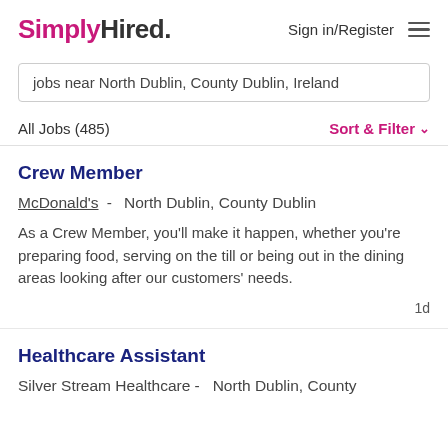SimplyHired. Sign in/Register
jobs near North Dublin, County Dublin, Ireland
All Jobs (485)
Sort & Filter
Crew Member
McDonald's -  North Dublin, County Dublin
As a Crew Member, you'll make it happen, whether you're preparing food, serving on the till or being out in the dining areas looking after our customers' needs.
1d
Healthcare Assistant
Silver Stream Healthcare -  North Dublin, County